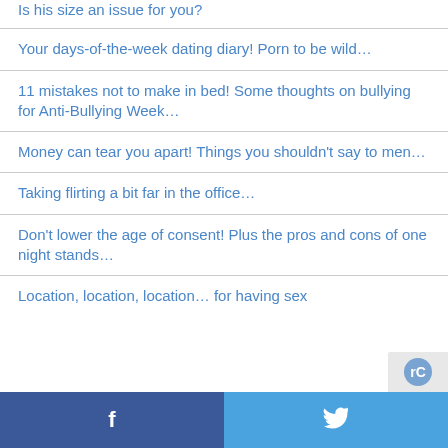Is his size an issue for you?
Your days-of-the-week dating diary! Porn to be wild…
11 mistakes not to make in bed! Some thoughts on bullying for Anti-Bullying Week…
Money can tear you apart! Things you shouldn't say to men…
Taking flirting a bit far in the office…
Don't lower the age of consent! Plus the pros and cons of one night stands…
Location, location, location… for having sex
Facebook | Twitter